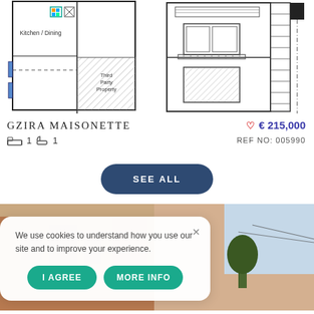[Figure (schematic): Floor plan showing Kitchen/Dining area and Third Party Property with hatching]
[Figure (engineering-diagram): Building elevation/facade drawing showing two floors with windows and balcony]
GZIRA MAISONETTE
€ 215,000
1 bed  1 bath
REF NO: 005990
SEE ALL
[Figure (photo): Street photo of historic European/Maltese buildings]
We use cookies to understand how you use our site and to improve your experience.
I AGREE
MORE INFO